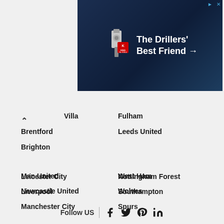[Figure (other): King Oil Tools advertisement banner - 'The Drillers' Best Friend →' with logo on dark blue background]
Villa
Brentford
Brighton
Fulham
Leeds United
Leicester City
Liverpool
Manchester City
Man United
Newcastle United
Nottingham Forest
Southampton
Spurs
West Ham
Wolves
Follow US